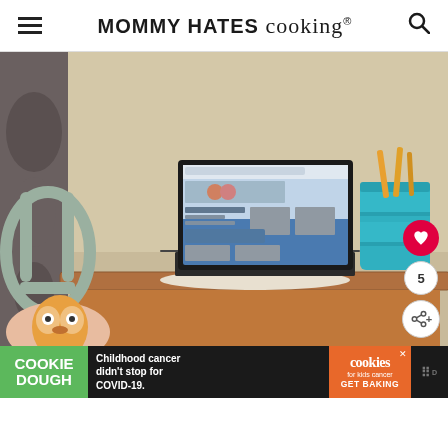MOMMY HATES cooking®
[Figure (photo): A laptop computer open on a wooden desk with a chair nearby, showing a cooking website on its screen. A teal/turquoise desk organizer with pencils is visible in the upper right. A colorful owl-shaped item is in the chair.]
COOKIE DOUGH  Childhood cancer didn't stop for COVID-19.  cookies for kids cancer  GET BAKING